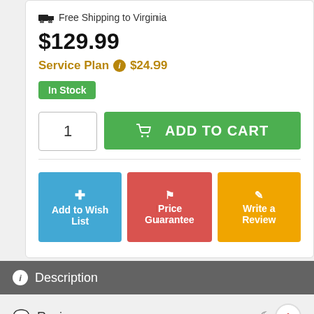Free Shipping to Virginia
$129.99
Service Plan ℹ $24.99
In Stock
1  ADD TO CART
Add to Wish List
Price Guarantee
Write a Review
Description
Reviews